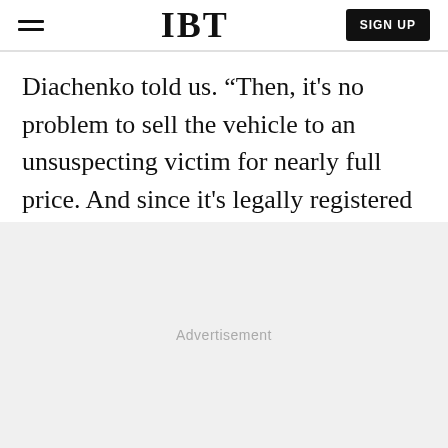IBT | SIGN UP
Diachenko told us. "Then, it's no problem to sell the vehicle to an unsuspecting victim for nearly full price. And since it's legally registered and not reported stolen, it's nearly untraceable."
Advertisement